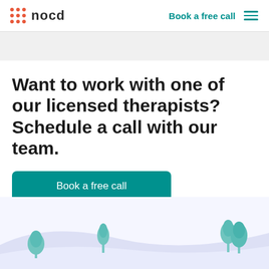nocd  Book a free call
Want to work with one of our licensed therapists? Schedule a call with our team.
Book a free call
[Figure (illustration): Winter scene illustration with snow-covered hills and stylized teal trees on left and right sides.]